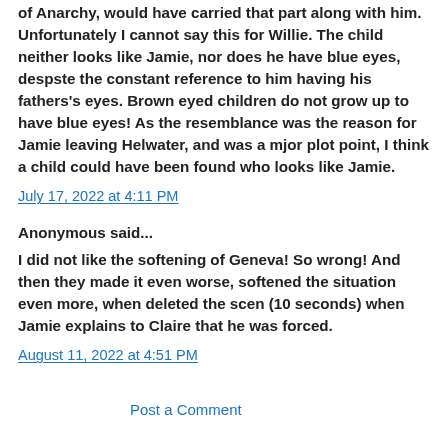of Anarchy, would have carried that part along with him. Unfortunately I cannot say this for Willie. The child neither looks like Jamie, nor does he have blue eyes, despste the constant reference to him having his fathers's eyes. Brown eyed children do not grow up to have blue eyes! As the resemblance was the reason for Jamie leaving Helwater, and was a mjor plot point, I think a child could have been found who looks like Jamie.
July 17, 2022 at 4:11 PM
Anonymous said...
I did not like the softening of Geneva! So wrong! And then they made it even worse, softened the situation even more, when deleted the scen (10 seconds) when Jamie explains to Claire that he was forced.
August 11, 2022 at 4:51 PM
Post a Comment